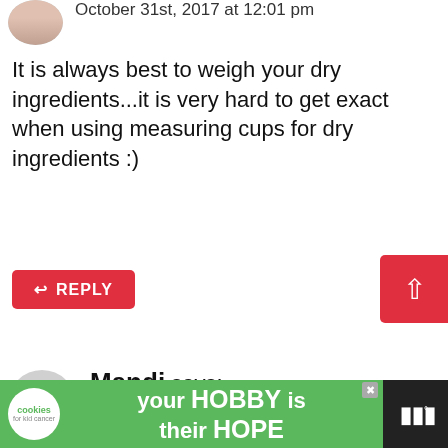October 31st, 2017 at 12:01 pm
It is always best to weigh your dry ingredients...it is very hard to get exact when using measuring cups for dry ingredients :)
REPLY
Mandi says:
March 13th, 2017 at 1:01 am
I just made these scones. Great used a small cutter to make a large tray fu... by...
[Figure (infographic): WHAT'S NEXT arrow, Zucchini Bread thumbnail]
[Figure (infographic): Advertisement banner: cookies for kid cancer logo, 'your HOBBY is their HOPE' text on green background, CNN logo]